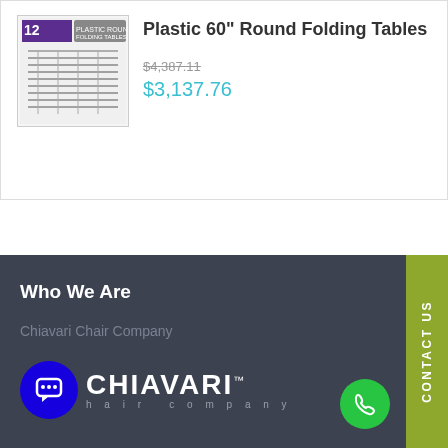[Figure (photo): Product image thumbnail showing 12 plastic round folding tables stacked]
Plastic 60" Round Folding Tables
$4,387.11 (strikethrough original price)
$3,137.76 (sale price in teal)
Who We Are
Chiavari Chair Company
[Figure (logo): Chiavari Chair Company logo with chat icon and phone button, on dark grey background]
CONTACT US